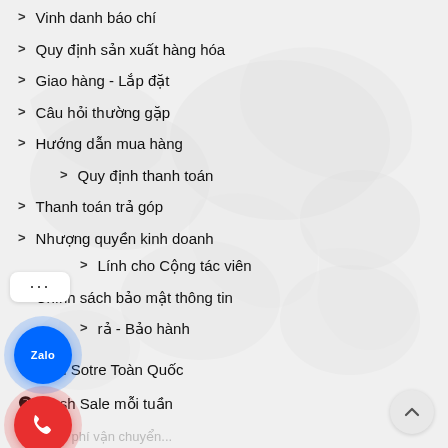> Vinh danh báo chí
> Quy định sản xuất hàng hóa
> Giao hàng - Lắp đặt
> Câu hỏi thường gặp
> Hướng dẫn mua hàng
> Quy định thanh toán
> Thanh toán trả góp
> Nhượng quyền kinh doanh
> Lính cho Cộng tác viên
> Chính sách bảo mật thông tin
> rả - Bảo hành
❶ Mini Sotre Toàn Quốc
❷ Flash Sale mỗi tuần
❸ ...